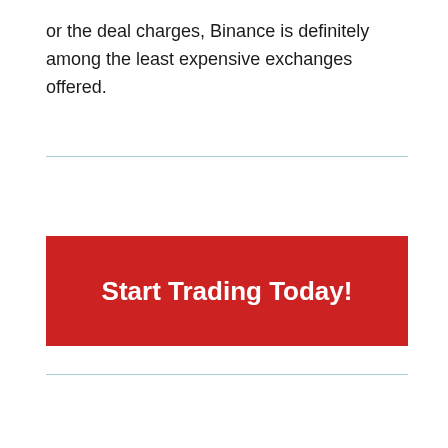or the deal charges, Binance is definitely among the least expensive exchanges offered.
[Figure (other): Red call-to-action button with white bold text reading 'Start Trading Today!']